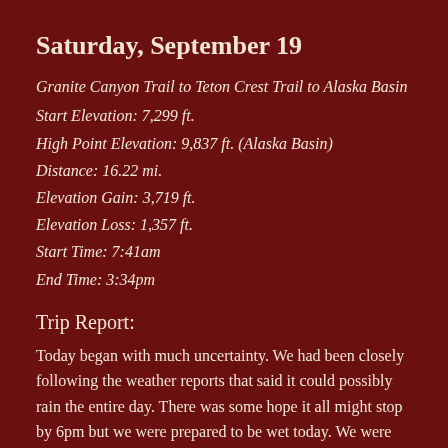Saturday, September 19
Granite Canyon Trail to Teton Crest Trail to Alaska Basin
Start Elevation: 7,299 ft.
High Point Elevation: 9,837 ft. (Alaska Basin)
Distance: 16.22 mi.
Elevation Gain: 3,719 ft.
Elevation Loss: 1,357 ft.
Start Time: 7:41am
End Time: 3:34pm
Trip Report:
Today began with much uncertainty.  We had been closely following the weather reports that said it could possibly rain the entire day.  There was some hope it all might stop by 6pm but we were prepared to be wet today.  We were